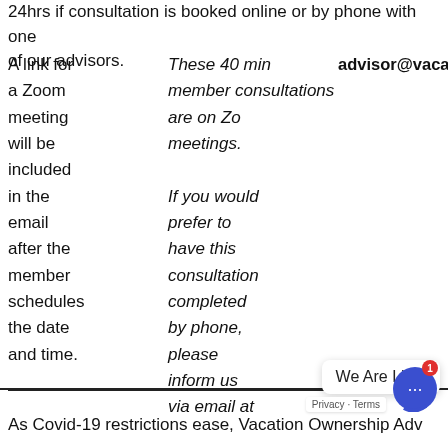24hrs if consultation is booked online or by phone with one of our advisors.
A link for a Zoom meeting will be included in the email after the member schedules the date and time.
These 40 min member consultations are on Zoom meetings. If you would prefer to have this consultation completed by phone, please inform us via email at advisor@vacationownershipad...
We Are Live!
As Covid-19 restrictions ease, Vacation Ownership Adv...